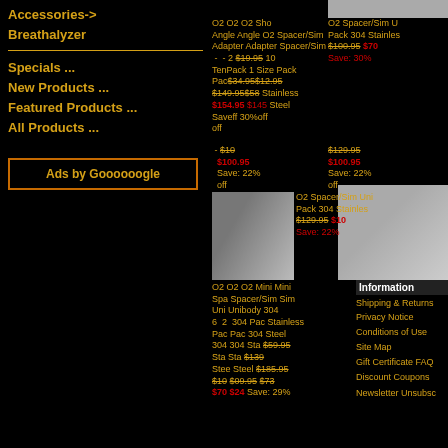Accessories-> Breathalyzer
Specials ...
New Products ...
Featured Products ...
All Products ...
Ads by Goooooogle
O2 O2 O2 Sho O2 Angle Angle O2 Spacer/Sim Adapter Adapter Spacer/Sim - - 2 $19.95 10 O2 Spacer/Sim U Pack 304 Stainless TenPack 1 Size Pack $34.95 $12.95 $100.95 $70 $149.95 $58 Stainless Save: 30% $154.95 $145 Steel Saveff 30%off $129.95 off $100.95 Save: 22% off
[Figure (photo): O2 Spacer stainless steel products thumbnail]
[Figure (photo): Small O2 spacer/sim parts]
[Figure (photo): O2 spacer sim unit screw-type parts photo]
O2 Spacer/Sim Uni Pack 304 Stainles $129.95 $10 Save: 22%
O2 O2 O2 Mini Mini Spa Spacer/Sim Sim Uni Unibody 304 6 2 304 Pac Stainless Pac Pac 304 Steel 304 304 Sta Steel $59.95 Sta Sta $139 Stee Steel $185.95 $10 $09.95 $73 $70 Save: 29%
Information
Shipping & Returns
Privacy Notice
Conditions of Use
Site Map
Gift Certificate FAQ
Discount Coupons
Newsletter Unsubsc